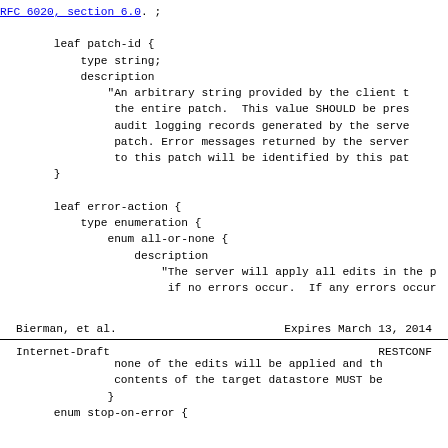RFC 6020, section 6.0. ;
leaf patch-id {
    type string;
    description
        "An arbitrary string provided by the client t
         the entire patch.  This value SHOULD be pres
         audit logging records generated by the serve
         patch. Error messages returned by the server
         to this patch will be identified by this pat
}
leaf error-action {
    type enumeration {
        enum all-or-none {
            description
                "The server will apply all edits in the p
                 if no errors occur.  If any errors occur
Bierman, et al.          Expires March 13, 2014
Internet-Draft                        RESTCONF
none of the edits will be applied and th
            contents of the target datastore MUST be
        }
        enum stop-on-error {